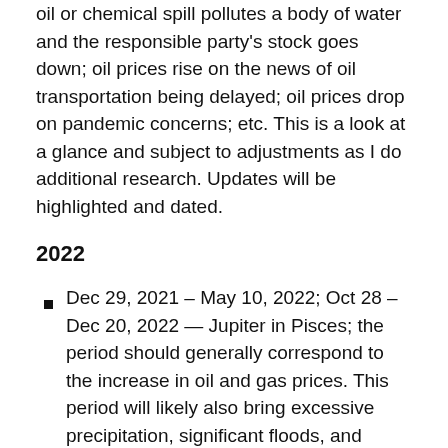oil or chemical spill pollutes a body of water and the responsible party's stock goes down; oil prices rise on the news of oil transportation being delayed; oil prices drop on pandemic concerns; etc. This is a look at a glance and subject to adjustments as I do additional research. Updates will be highlighted and dated.
2022
Dec 29, 2021 – May 10, 2022; Oct 28 – Dec 20, 2022 — Jupiter in Pisces; the period should generally correspond to the increase in oil and gas prices. This period will likely also bring excessive precipitation, significant floods, and expansion of activities and projects related to navy, ships, chemicals, drugs, and medicines.
Jupiter (abundance, fat, easy going, long distance shipping) moved from Pisces (oil, gas, water, pharma...